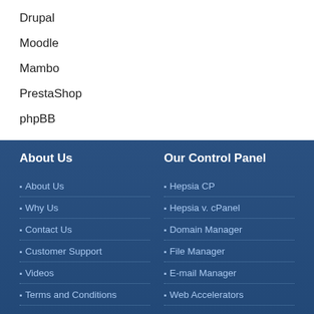Drupal
Moodle
Mambo
PrestaShop
phpBB
About Us
About Us
Why Us
Contact Us
Customer Support
Videos
Terms and Conditions
Our Control Panel
Hepsia CP
Hepsia v. cPanel
Domain Manager
File Manager
E-mail Manager
Web Accelerators
Hosting Articles
Web Hosting Articles
Domain Name Manager
Shared Web Hosting
Application Hosting
WordPress Hosting
PrestaShop Hosting
OpenCart Hosting